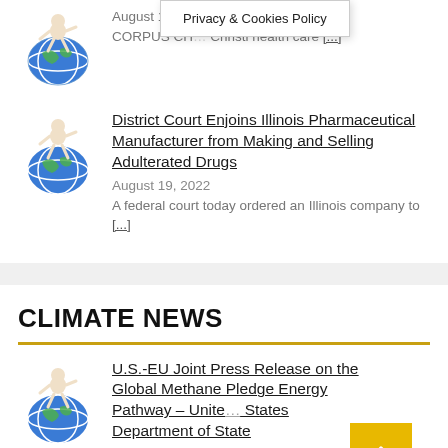Privacy & Cookies Policy
August 19, 2
CORPUS CH... Christi health care [...]
District Court Enjoins Illinois Pharmaceutical Manufacturer from Making and Selling Adulterated Drugs
August 19, 2022
A federal court today ordered an Illinois company to [...]
CLIMATE NEWS
U.S.-EU Joint Press Release on the Global Methane Pledge Energy Pathway – United States Department of State
In Climate - Environment - Conservation
The following text was released by the